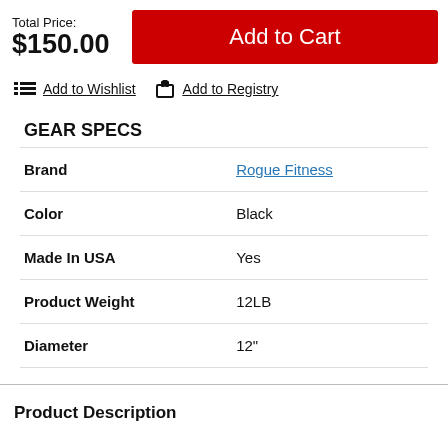Total Price: $150.00
Add to Cart
Add to Wishlist
Add to Registry
GEAR SPECS
| Spec | Value |
| --- | --- |
| Brand | Rogue Fitness |
| Color | Black |
| Made In USA | Yes |
| Product Weight | 12LB |
| Diameter | 12" |
Product Description